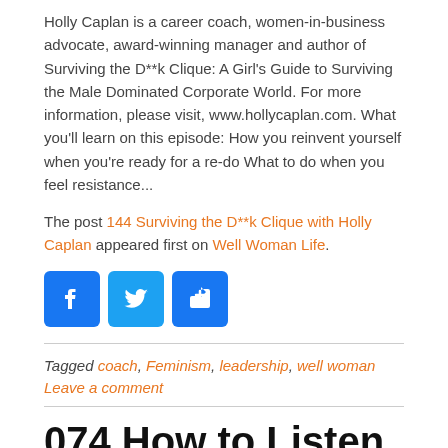Holly Caplan is a career coach, women-in-business advocate, award-winning manager and author of Surviving the D**k Clique: A Girl's Guide to Surviving the Male Dominated Corporate World. For more information, please visit, www.hollycaplan.com. What you'll learn on this episode: How you reinvent yourself when you're ready for a re-do What to do when you feel resistance...
The post 144 Surviving the D**k Clique with Holly Caplan appeared first on Well Woman Life.
[Figure (other): Social share buttons: Facebook (blue), Twitter (light blue), and a share/add button (blue)]
Tagged coach, Feminism, leadership, well woman
Leave a comment
074 How to Listen to Your